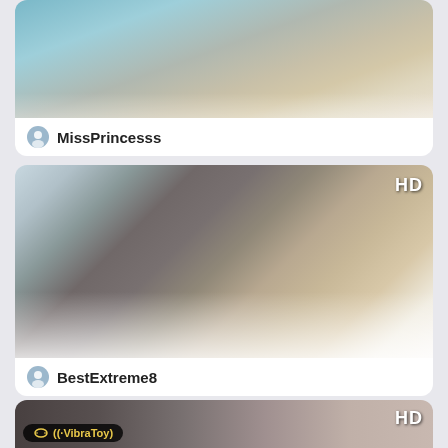[Figure (screenshot): Partial card showing MissPrincesss profile thumbnail, cropped at top]
MissPrincesss
[Figure (screenshot): Card showing BestExtreme8 profile thumbnail with HD badge]
BestExtreme8
[Figure (screenshot): Partial card at bottom with VibraToy badge and HD badge, partially cropped]